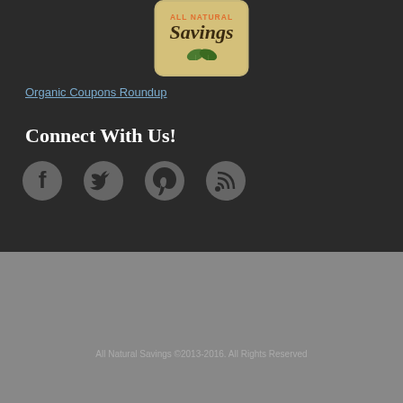[Figure (logo): All Natural Savings logo - tan/beige rounded rectangle with orange 'ALL NATURAL' text and dark italic 'Savings' text with leaf graphics]
Organic Coupons Roundup
Connect With Us!
[Figure (illustration): Social media icons: Facebook, Twitter, Pinterest, RSS feed icons in dark gray]
[Figure (logo): All Natural Savings logo (second instance, smaller) in the gray footer section]
By continuing to use the site, you agree to the use of cookies.
more information
Accept
All Natural Savings ©2013-2016. All Rights Reserved